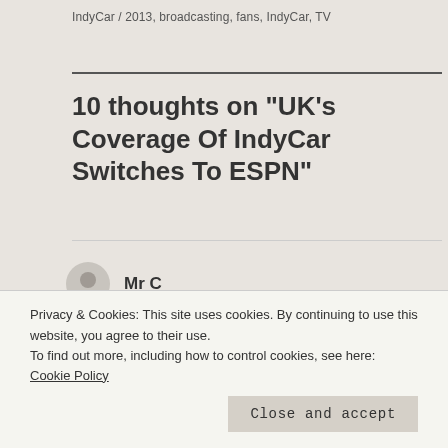IndyCar / 2013, broadcasting, fans, IndyCar, TV
10 thoughts on “UK’s Coverage Of IndyCar Switches To ESPN”
Mr C
8 February 2013 at 2:06 am
Privacy & Cookies: This site uses cookies. By continuing to use this website, you agree to their use.
To find out more, including how to control cookies, see here: Cookie Policy
Close and accept
Like